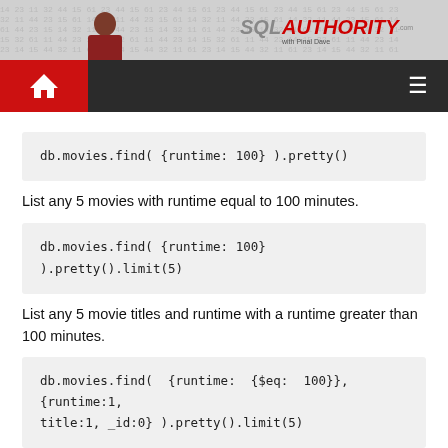[Figure (logo): SQL Authority website header banner with person photo and SQL AUTHORITY logo on matrix/code background]
[Figure (other): Dark navigation bar with red home button icon and hamburger menu icon]
db.movies.find( {runtime: 100} ).pretty()
List any 5 movies with runtime equal to 100 minutes.
db.movies.find( {runtime: 100} ).pretty().limit(5)
List any 5 movie titles and runtime with a runtime greater than 100 minutes.
db.movies.find( {runtime: {$eq: 100}}, {runtime:1, title:1, _id:0} ).pretty().limit(5)
List top 5 movie titles and runtime with a runtime greater than 100